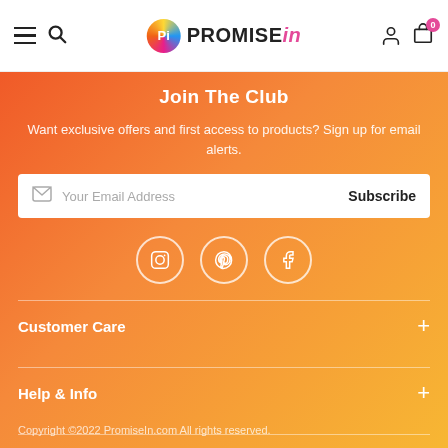PROMISE in
Join The Club
Want exclusive offers and first access to products? Sign up for email alerts.
Your Email Address  Subscribe
[Figure (illustration): Social media icons: Instagram, Pinterest, Facebook in white circles]
Customer Care
Help & Info
Copyright ©2022 PromiseIn.com All rights reserved.